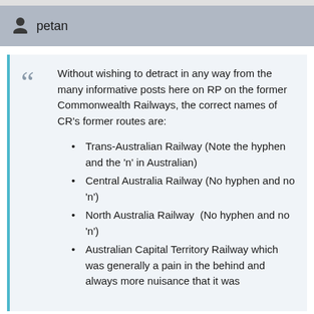petan
Without wishing to detract in any way from the many informative posts here on RP on the former Commonwealth Railways, the correct names of CR's former routes are:
Trans-Australian Railway (Note the hyphen and the 'n' in Australian)
Central Australia Railway (No hyphen and no 'n')
North Australia Railway  (No hyphen and no 'n')
Australian Capital Territory Railway which was generally a pain in the behind and always more nuisance that it was worth...